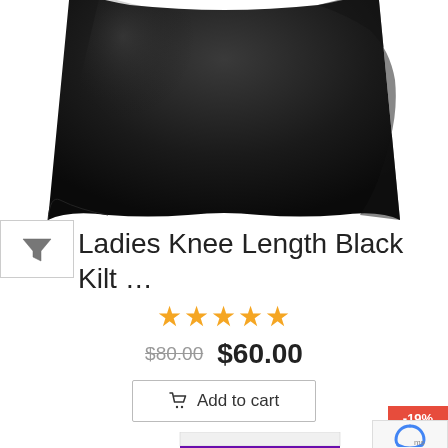[Figure (photo): Product photo of a ladies knee length black kilt/skirt, shown from waist down, dark fabric on white background]
Ladies Knee Length Black Kilt …
★★★★★
$80.00  $60.00
Add to cart
[Figure (photo): Product thumbnail showing bottom portion of a purple kilt with white waistband and metal buttons/snaps]
-19%